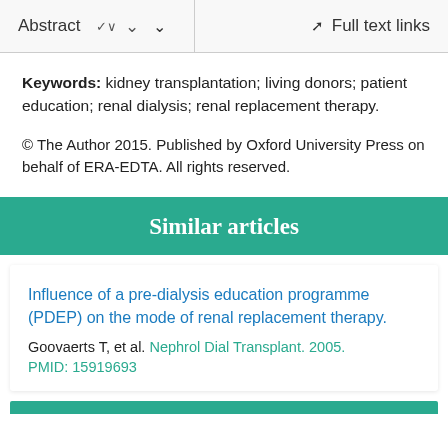Abstract   ∨   Full text links
Keywords: kidney transplantation; living donors; patient education; renal dialysis; renal replacement therapy.
© The Author 2015. Published by Oxford University Press on behalf of ERA-EDTA. All rights reserved.
Similar articles
Influence of a pre-dialysis education programme (PDEP) on the mode of renal replacement therapy.
Goovaerts T, et al. Nephrol Dial Transplant. 2005.
PMID: 15919693